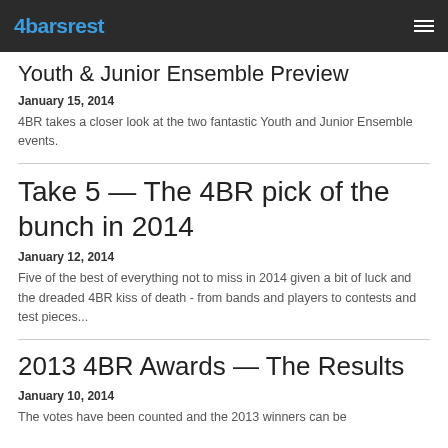4barsrest
Youth & Junior Ensemble Preview
January 15, 2014
4BR takes a closer look at the two fantastic Youth and Junior Ensemble events.
Take 5 — The 4BR pick of the bunch in 2014
January 12, 2014
Five of the best of everything not to miss in 2014 given a bit of luck and the dreaded 4BR kiss of death - from bands and players to contests and test pieces...
2013 4BR Awards — The Results
January 10, 2014
The votes have been counted and the 2013 winners can be